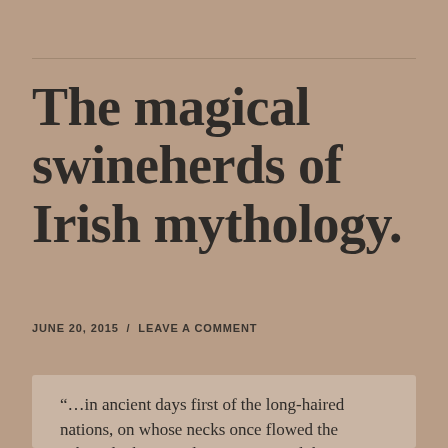The magical swineherds of Irish mythology.
JUNE 20, 2015  /  LEAVE A COMMENT
“…in ancient days first of the long-haired nations, on whose necks once flowed the auburn locks in pride supreme; And those